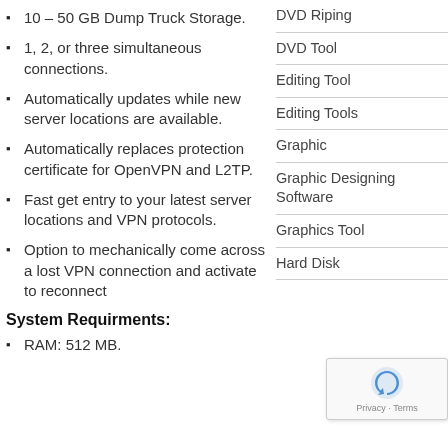10 – 50 GB Dump Truck Storage.
1, 2, or three simultaneous connections.
Automatically updates while new server locations are available.
Automatically replaces protection certificate for OpenVPN and L2TP.
Fast get entry to your latest server locations and VPN protocols.
Option to mechanically come across a lost VPN connection and activate to reconnect
System Requirments:
RAM: 512 MB.
DVD Riping
DVD Tool
Editing Tool
Editing Tools
Graphic
Graphic Designing Software
Graphics Tool
Hard Disk